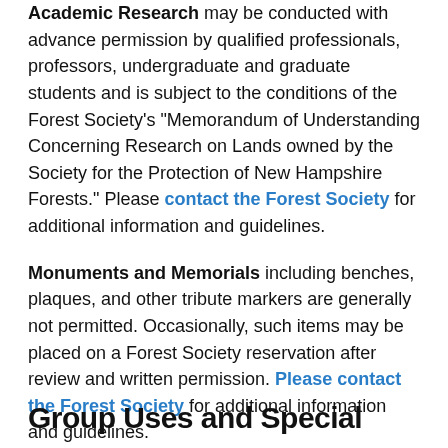Academic Research may be conducted with advance permission by qualified professionals, professors, undergraduate and graduate students and is subject to the conditions of the Forest Society's "Memorandum of Understanding Concerning Research on Lands owned by the Society for the Protection of New Hampshire Forests." Please contact the Forest Society for additional information and guidelines.
Monuments and Memorials including benches, plaques, and other tribute markers are generally not permitted. Occasionally, such items may be placed on a Forest Society reservation after review and written permission. Please contact the Forest Society for additional information and guidelines.
Group Uses and Special